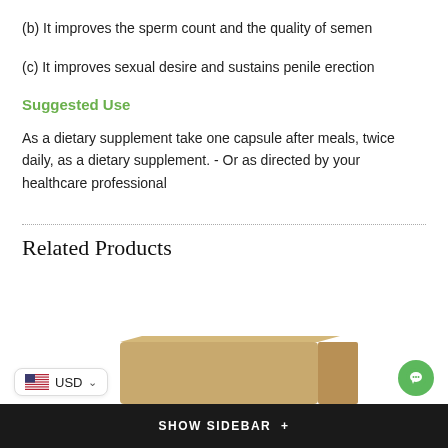(b) It improves the sperm count and the quality of semen
(c) It improves sexual desire and sustains penile erection
Suggested Use
As a dietary supplement take one capsule after meals, twice daily, as a dietary supplement. - Or as directed by your healthcare professional
Related Products
[Figure (photo): Partial product image visible at bottom of page]
SHOW SIDEBAR +